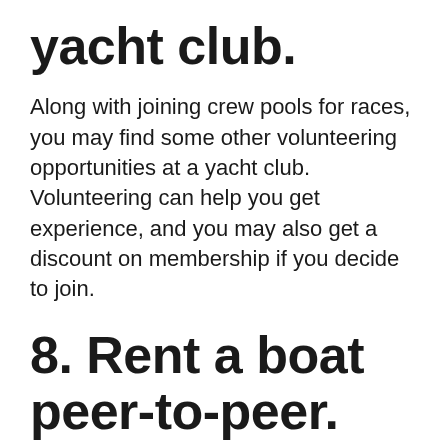yacht club.
Along with joining crew pools for races, you may find some other volunteering opportunities at a yacht club. Volunteering can help you get experience, and you may also get a discount on membership if you decide to join.
8. Rent a boat peer-to-peer.
There are now opportunities to rent a boat from another individual if you wish. You may find that this is cheaper than renting a boat from a marina in some cases. It also may